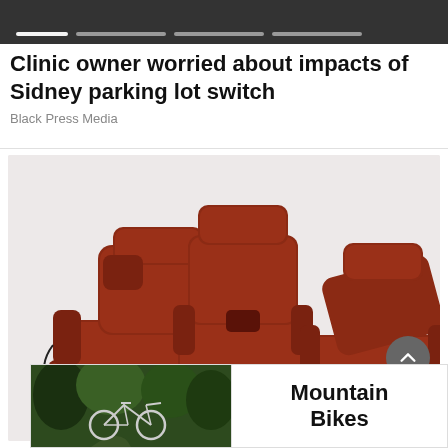[Figure (screenshot): Dark slider/carousel navigation bar with progress indicator dots at top of page]
Clinic owner worried about impacts of Sidney parking lot switch
Black Press Media
[Figure (photo): Three dark brown leather recliner chairs on a light pinkish-gray background. Left chair is reclined with footrest up, middle chair is upright, right chair is partially reclined.]
[Figure (photo): Advertisement banner showing a mountain bike on a trail on the left, with text 'Mountain Bikes' on the right]